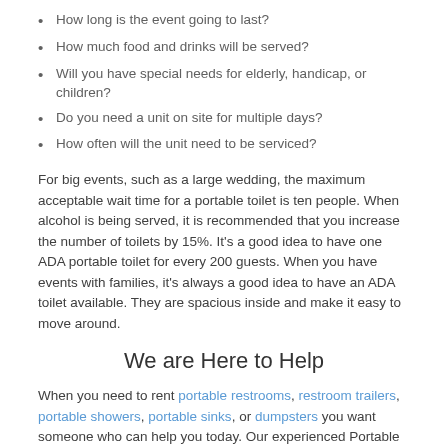How long is the event going to last?
How much food and drinks will be served?
Will you have special needs for elderly, handicap, or children?
Do you need a unit on site for multiple days?
How often will the unit need to be serviced?
For big events, such as a large wedding, the maximum acceptable wait time for a portable toilet is ten people. When alcohol is being served, it is recommended that you increase the number of toilets by 15%. It's a good idea to have one ADA portable toilet for every 200 guests. When you have events with families, it's always a good idea to have an ADA toilet available. They are spacious inside and make it easy to move around.
We are Here to Help
When you need to rent portable restrooms, restroom trailers, portable showers, portable sinks, or dumpsters you want someone who can help you today. Our experienced Portable Toilet Rentals are Now in Denham Springs, Louisiana local preferred vendors are ready to help you today!